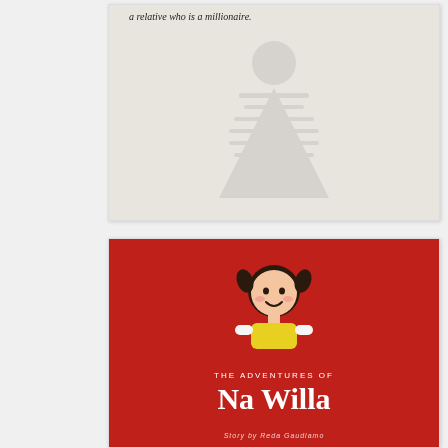[Figure (photo): Faded/ghosted image of text and a figure on a light beige/gray page. Partial visible text reads 'a relative who is a millionaire.' with a lightly visible figure outline below.]
[Figure (photo): Book cover of 'The Adventures of Na Willa' — red background with a cartoon illustration of a smiling girl with pigtails wearing a yellow shirt. Title text reads 'THE ADVENTURES OF Na Willa' in white. Author name partially visible at bottom.]